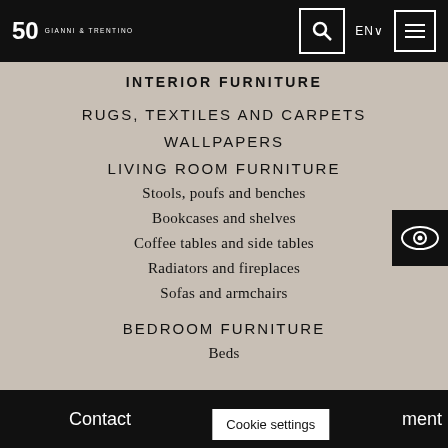Gianni & Trentino 50 logo, search, EN, menu
INTERIOR FURNITURE
RUGS, TEXTILES AND CARPETS
WALLPAPERS
LIVING ROOM FURNITURE
Stools, poufs and benches
Bookcases and shelves
Coffee tables and side tables
Radiators and fireplaces
Sofas and armchairs
BEDROOM FURNITURE
Beds
Contact | Cookie settings | ment